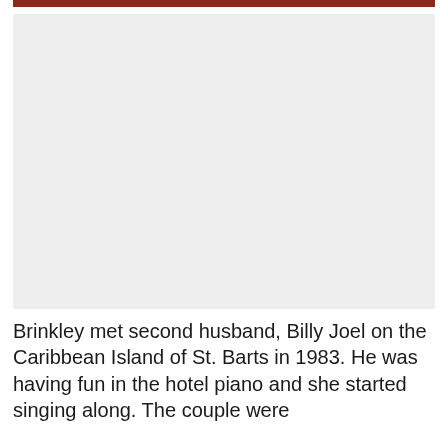[Figure (photo): Large photo placeholder with light gray background filling most of the upper portion of the page]
Brinkley met second husband, Billy Joel on the Caribbean Island of St. Barts in 1983. He was having fun in the hotel piano and she started singing along. The couple were